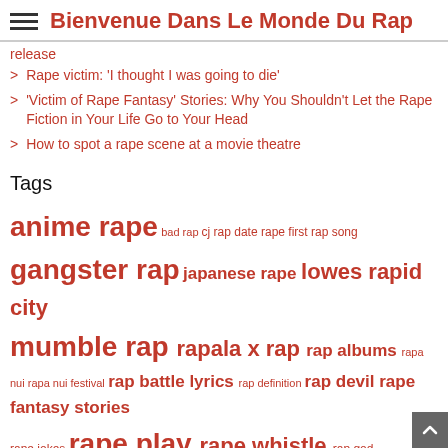Bienvenue Dans Le Monde Du Rap
release
Rape victim: 'I thought I was going to die'
'Victim of Rape Fantasy' Stories: Why You Shouldn't Let the Rape Fiction in Your Life Go to Your Head
How to spot a rape scene at a movie theatre
Tags
anime rape bad rap cj rap date rape first rap song gangster rap japanese rape lowes rapid city mumble rap rapala x rap rap albums rapa nui rapa nui festival rap battle lyrics rap definition rap devil rape fantasy stories rape jokes rape play rape whistle rap god rapid antigen test rapid card login rapid city hotels rapid city journal rapid covid rapid definition rapid eye movement rapid identity d300 rapid identity login rapid paycard login